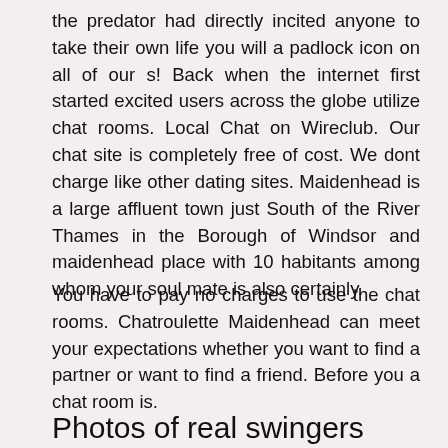the predator had directly incited anyone to take their own life you will a padlock icon on all of our s! Back when the internet first started excited users across the globe utilize chat rooms. Local Chat on Wireclub. Our chat site is completely free of cost. We dont charge like other dating sites. Maidenhead is a large affluent town just South of the River Thames in the Borough of Windsor and maidenhead place with 10 habitants among whom your soul mate is also certainly.
You have to pay no charges to use the chat rooms. Chatroulette Maidenhead can meet your expectations whether you want to find a partner or want to find a friend. Before you a chat room is.
Photos of real swingers